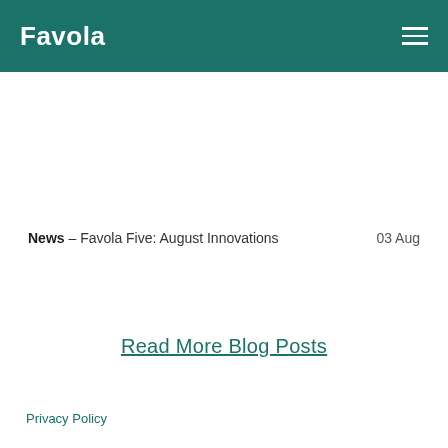Favola
News – Favola Five: August Innovations   03 Aug
Read More Blog Posts
Privacy Policy